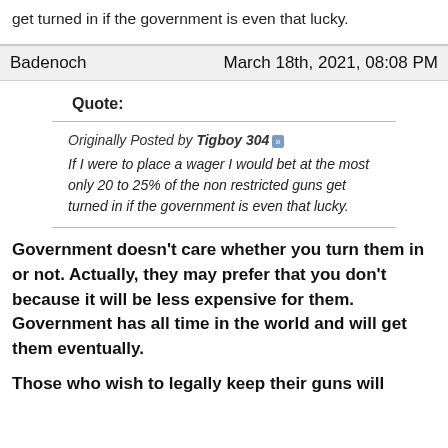get turned in if the government is even that lucky.
Badenoch    March 18th, 2021, 08:08 PM
Quote:
Originally Posted by Tigboy 304 » If I were to place a wager I would bet at the most only 20 to 25% of the non restricted guns get turned in if the government is even that lucky.
Government doesn't care whether you turn them in or not. Actually, they may prefer that you don't because it will be less expensive for them. Government has all time in the world and will get them eventually.
Those who wish to legally keep their guns will